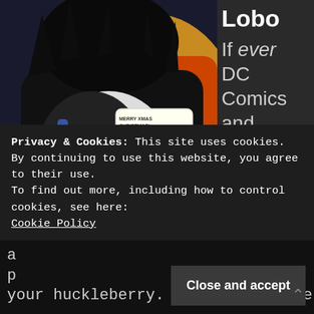[Figure (illustration): Comic book panel of Lobo, a dark-skinned alien with wild black hair, grinning menacingly and holding a small creature, with speech bubbles saying 'MERRY XMAS CHRISTMAS!' and 'HO! HO! HO!']
Lobo
If ever DC Comics and Warner Bros. wanted to bring
Privacy & Cookies: This site uses cookies. By continuing to use this website, you agree to their use.
To find out more, including how to control cookies, see here:
Cookie Policy
Close and accept
a
p
your huckleberry. I mean, when he was borr